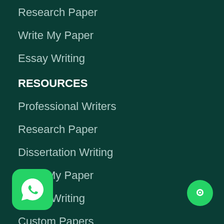Research Paper
Write My Paper
Essay Writing
RESOURCES
Professional Writers
Research Paper
Dissertation Writing
Write My Paper
Essay Writing
Custom Papers
TERMS
Professional Writers
Research Paper
Dissertation Writing